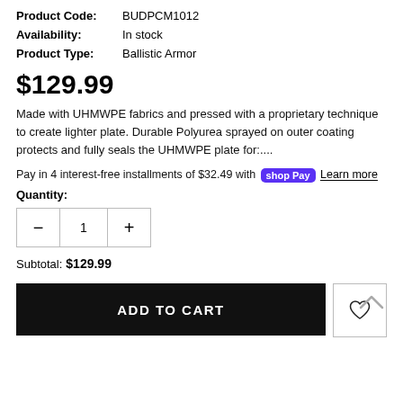Product Code: BUDPCM1012
Availability: In stock
Product Type: Ballistic Armor
$129.99
Made with UHMWPE fabrics and pressed with a proprietary technique to create lighter plate. Durable Polyurea sprayed on outer coating protects and fully seals the UHMWPE plate for:....
Pay in 4 interest-free installments of $32.49 with Shop Pay Learn more
Quantity:
Subtotal: $129.99
ADD TO CART